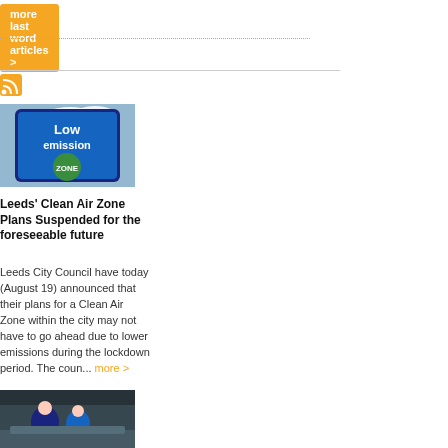more last word articles >
[Figure (photo): Low emission zone sign against a cloudy sky]
Leeds' Clean Air Zone Plans Suspended for the foreseeable future
Leeds City Council have today (August 19) announced that their plans for a Clean Air Zone within the city may not have to go ahead due to lower emissions during the lockdown period. The coun... more >
[Figure (photo): Two mechanics working on a vehicle]